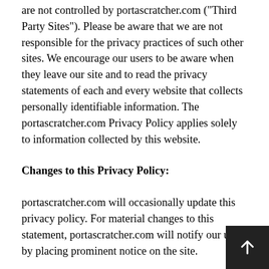are not controlled by portascratcher.com ("Third Party Sites"). Please be aware that we are not responsible for the privacy practices of such other sites. We encourage our users to be aware when they leave our site and to read the privacy statements of each and every website that collects personally identifiable information. The portascratcher.com Privacy Policy applies solely to information collected by this website.
Changes to this Privacy Policy:
portascratcher.com will occasionally update this privacy policy. For material changes to this statement, portascratcher.com will notify our users by placing prominent notice on the site.
Enforcement of this Privacy Policy and Contact Information: